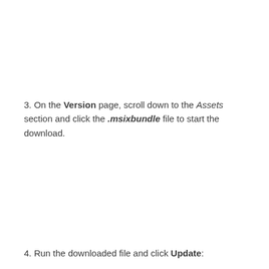3. On the Version page, scroll down to the Assets section and click the .msixbundle file to start the download.
4. Run the downloaded file and click Update: